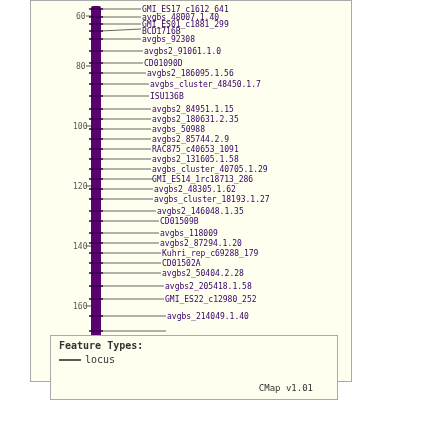[Figure (engineering-diagram): Genetic linkage map / CMap diagram showing a chromosome with markers labeled along the right side. Purple vertical bar representing chromosome with tick marks and horizontal lines connecting to marker names. Y-axis shows position values from ~60 to 180. Markers include GMI_ES17_c1612_641, avgbs_48007.1.40, GMI_ES01_c1881_299, BCD1716B, avgbs_92308, avgbs2_91061.1.0, CD01090D, avgbs2_186095.1.56, avgbs_cluster_48450.1.7, ISU136B, avgbs2_84951.1.15, avgbs2_180631.2.35, avgbs_50988, avgbs2_85744.2.9, RAC875_c40653_1091, avgbs2_131605.1.58, avgbs_cluster_40705.1.29, GMI_ES14_1rc18713_286, avgbs2_48305.1.62, avgbs_cluster_18193.1.27, avgbs2_146048.1.35, CD01509B, avgbs_118009, avgbs2_87294.1.20, Kuhri_rep_c69288_179, CD01502A, avgbs2_50404.2.28, avgbs2_205418.1.58, GMI_ES22_c12980_252, avgbs_214049.1.40. Legend shows Feature Types: locus (solid line). CMap v1.01.]
Save Link*